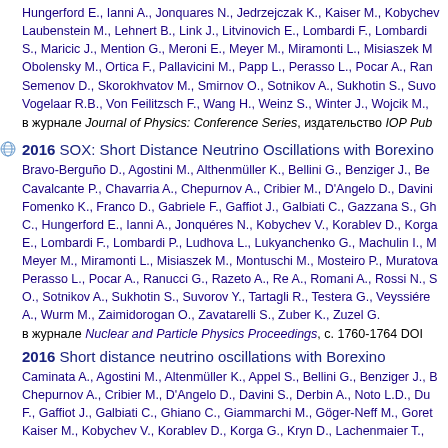Hungerford E., Ianni A., Jonquares N., Jedrzejczak K., Kaiser M., Kobychev... Laubenstein M., Lehnert B., Link J., Litvinovich E., Lombardi F., Lombardi S., Maricic J., Mention G., Meroni E., Meyer M., Miramonti L., Misiaszek M., Obolensky M., Ortica F., Pallavicini M., Papp L., Perasso L., Pocar A., Ran... Semenov D., Skorokhvatov M., Smirnov O., Sotnikov A., Sukhotin S., Suvo... Vogelaar R.B., Von Feilitzsch F., Wang H., Weinz S., Winter J., Wojcik M., в журнале Journal of Physics: Conference Series, издательство IOP Pub...
2016 SOX: Short Distance Neutrino Oscillations with Borexino
Bravo-Berguño D., Agostini M., Althenmüller K., Bellini G., Benziger J., Ben... Cavalcante P., Chavarria A., Chepurnov A., Cribier M., D'Angelo D., Davini... Fomenko K., Franco D., Gabriele F., Gaffiot J., Galbiati C., Gazzana S., Gh... C., Hungerford E., Ianni A., Jonquéres N., Kobychev V., Korablev D., Korga... E., Lombardi F., Lombardi P., Ludhova L., Lukyanchenko G., Machulin I., M... Meyer M., Miramonti L., Misiaszek M., Montuschi M., Mosteiro P., Muratova... Perasso L., Pocar A., Ranucci G., Razeto A., Re A., Romani A., Rossi N., S... O., Sotnikov A., Sukhotin S., Suvorov Y., Tartagli R., Testera G., Veyssiére... A., Wurm M., Zaimidorogan O., Zavatarelli S., Zuber K., Zuzel G.
в журнале Nuclear and Particle Physics Proceedings, с. 1760-1764 DOI
2016 Short distance neutrino oscillations with Borexino
Caminata A., Agostini M., Altenmüller K., Appel S., Bellini G., Benziger J., B... Chepurnov A., Cribier M., D'Angelo D., Davini S., Derbin A., Noto L.D., Du... F., Gaffiot J., Galbiati C., Ghiano C., Giammarchi M., Göger-Neff M., Goret... Kaiser M., Kobychev V., Korablev D., Korga G., Kryn D., Lachenmaier T.,